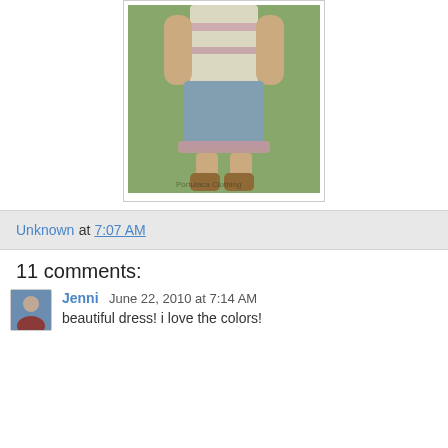[Figure (photo): A young child wearing a white top with pink ruffled stripes and a denim skirt with pink ruffle trim at the hem, wearing brown cowboy boots, standing in a grassy field. The image has a vintage tint. A watermark reads 'Portulaca Clothing' at the bottom.]
Unknown at 7:07 AM
11 comments:
Jenni June 22, 2010 at 7:14 AM
beautiful dress! i love the colors!